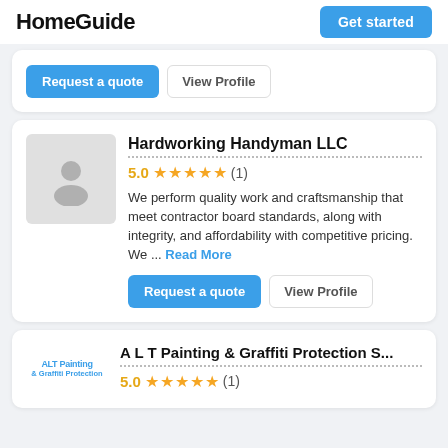HomeGuide  Get started
Request a quote  View Profile
Hardworking Handyman LLC
5.0 ★★★★★ (1)
We perform quality work and craftsmanship that meet contractor board standards, along with integrity, and affordability with competitive pricing. We ... Read More
Request a quote  View Profile
A L T Painting & Graffiti Protection S...
5.0 ★★★★★ (1)